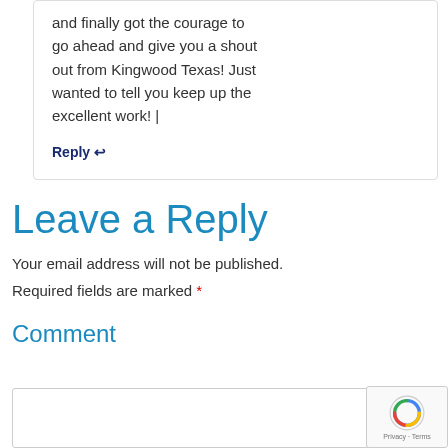and finally got the courage to go ahead and give you a shout out from Kingwood Texas! Just wanted to tell you keep up the excellent work! |
Reply ↩
Leave a Reply
Your email address will not be published. Required fields are marked *
Comment